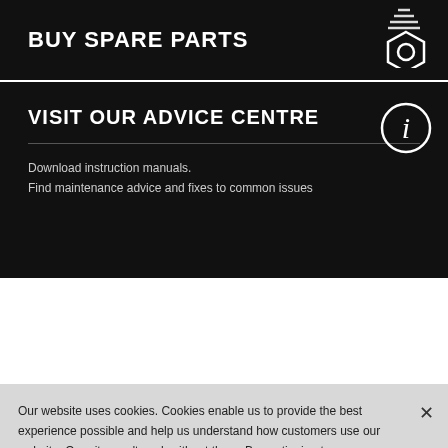BUY SPARE PARTS
VISIT OUR ADVICE CENTRE
Download instruction manuals.
Find maintenance advice and fixes to common issues
Our website uses cookies. Cookies enable us to provide the best experience possible and help us understand how customers use our website. Our site won't work without them. By continuing to use our website you accept our use of cookies. Find out more about cookies.